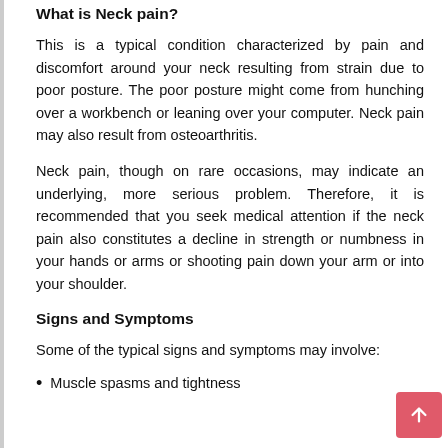What is Neck pain?
This is a typical condition characterized by pain and discomfort around your neck resulting from strain due to poor posture. The poor posture might come from hunching over a workbench or leaning over your computer. Neck pain may also result from osteoarthritis.
Neck pain, though on rare occasions, may indicate an underlying, more serious problem. Therefore, it is recommended that you seek medical attention if the neck pain also constitutes a decline in strength or numbness in your hands or arms or shooting pain down your arm or into your shoulder.
Signs and Symptoms
Some of the typical signs and symptoms may involve:
Muscle spasms and tightness